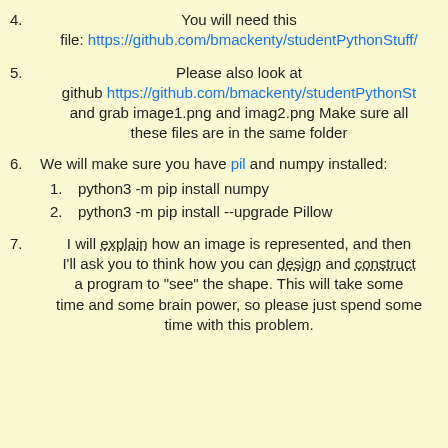4. You will need this file: https://github.com/bmackenty/studentPythonStuff/
5. Please also look at github https://github.com/bmackenty/studentPythonSt and grab image1.png and imag2.png Make sure all these files are in the same folder
6. We will make sure you have pil and numpy installed: 1. python3 -m pip install numpy 2. python3 -m pip install --upgrade Pillow
7. I will explain how an image is represented, and then I'll ask you to think how you can design and construct a program to "see" the shape. This will take some time and some brain power, so please just spend some time with this problem.